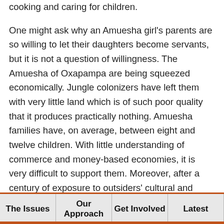cooking and caring for children.
One might ask why an Amuesha girl's parents are so willing to let their daughters become servants, but it is not a question of willingness. The Amuesha of Oxapampa are being squeezed economically. Jungle colonizers have left them with very little land which is of such poor quality that it produces practically nothing. Amuesha families have, on average, between eight and twelve children. With little understanding of commerce and money-based economies, it is very difficult to support them. Moreover, after a century of exposure to outsiders' cultural and racial prejudices, many Amuesha are now convinced that they are, indeed,
The Issues | Our Approach | Get Involved | Latest